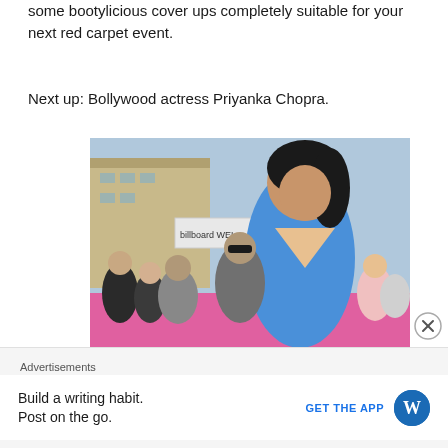some bootylicious cover ups completely suitable for your next red carpet event.
Next up: Bollywood actress Priyanka Chopra.
[Figure (photo): Bollywood actress Priyanka Chopra at a red carpet event, wearing a blue halter dress, with a crowd and Billboard signage visible in the background]
Advertisements
Build a writing habit. Post on the go.
GET THE APP